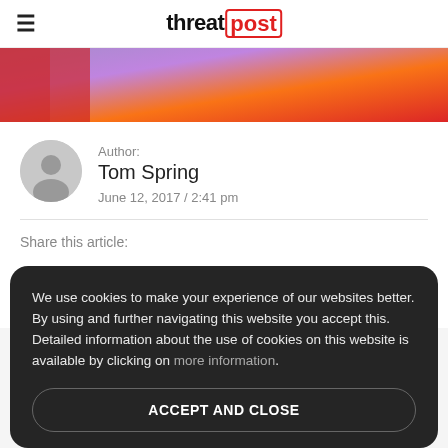threatpost
[Figure (photo): Colorful abstract hero image with purple and orange gradient]
Author:
Tom Spring
June 12, 2017 / 2:41 pm
Share this article:
[Figure (infographic): Social share icons: Facebook, Twitter, LinkedIn, Reddit, Flipboard]
We use cookies to make your experience of our websites better. By using and further navigating this website you accept this. Detailed information about the use of cookies on this website is available by clicking on more information.
ACCEPT AND CLOSE